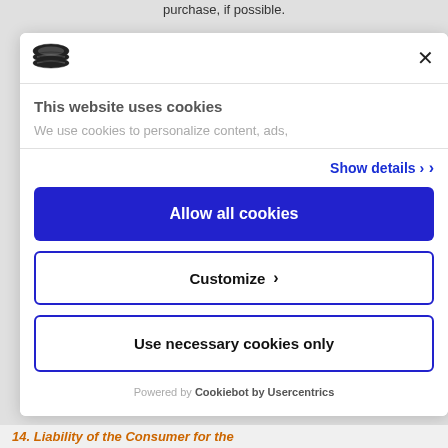purchase, if possible.
[Figure (screenshot): Cookie consent modal dialog with Cookiebot logo, close button, title 'This website uses cookies', description text, Show details link, Allow all cookies button, Customize button, Use necessary cookies only button, and Powered by Cookiebot by Usercentrics footer.]
14. Liability of the Consumer for the